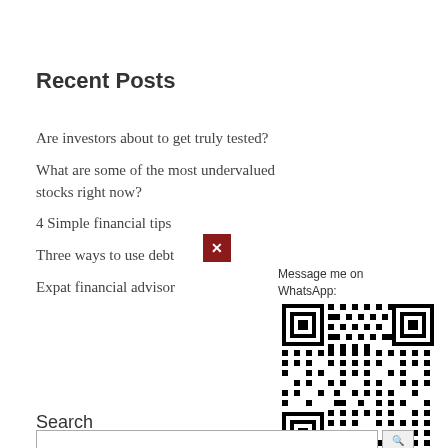Recent Posts
Are investors about to get truly tested?
What are some of the most undervalued stocks right now?
4 Simple financial tips
Three ways to use debt
Expat financial advisor
[Figure (other): Broken image icon (red square with white X)]
Message me on WhatsApp:
[Figure (other): QR code for WhatsApp contact]
Search